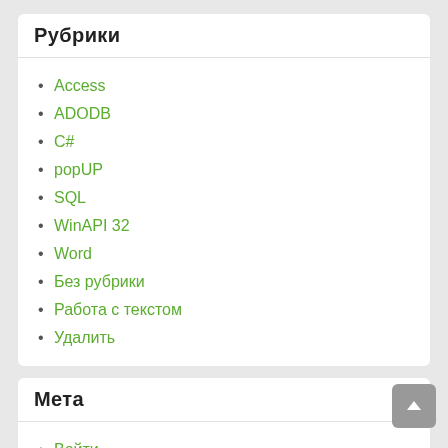Рубрики
Access
ADODB
C#
popUP
SQL
WinAPI 32
Word
Без рубрики
Работа с текстом
Удалить
Мета
Войти
Лента записей
Лента комментариев
WordPress.org